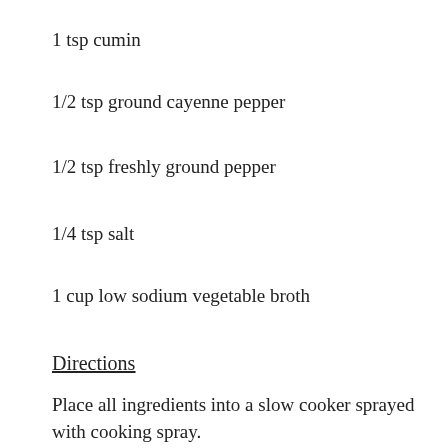1 tsp cumin
1/2 tsp ground cayenne pepper
1/2 tsp freshly ground pepper
1/4 tsp salt
1 cup low sodium vegetable broth
Directions
Place all ingredients into a slow cooker sprayed with cooking spray.